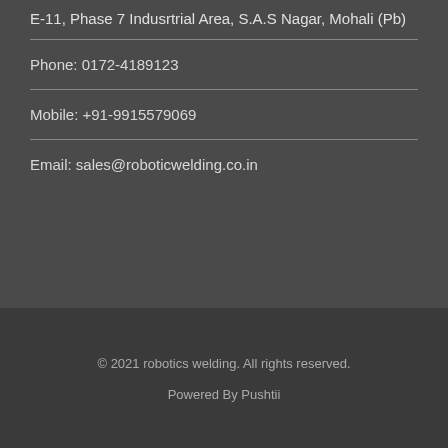E-11, Phase 7 Indusrtrial Area, S.A.S Nagar, Mohali (Pb)
Phone: 0172-4189123
Mobile: +91-9915579069
Email: sales@roboticwelding.co.in
© 2021 robotics welding. All rights reserved.
Powered By Pushtii